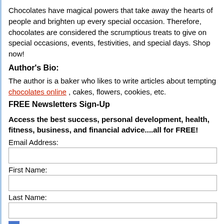Chocolates have magical powers that take away the hearts of people and brighten up every special occasion. Therefore, chocolates are considered the scrumptious treats to give on special occasions, events, festivities, and special days. Shop now!
Author's Bio:
The author is a baker who likes to write articles about tempting chocolates online , cakes, flowers, cookies, etc.
FREE Newsletters Sign-Up
Access the best success, personal development, health, fitness, business, and financial advice....all for FREE!
Email Address:
First Name:
Last Name:
Self Improvement Newsletter
Business Tips for Experts, Authors, Coaches